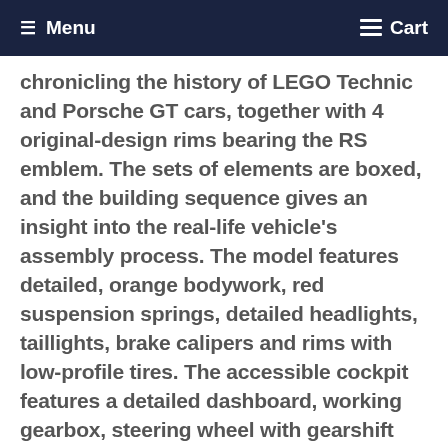Menu  Cart
chronicling the history of LEGO Technic and Porsche GT cars, together with 4 original-design rims bearing the RS emblem. The sets of elements are boxed, and the building sequence gives an insight into the real-life vehicle's assembly process. The model features detailed, orange bodywork, red suspension springs, detailed headlights, taillights, brake calipers and rims with low-profile tires. The accessible cockpit features a detailed dashboard, working gearbox, steering wheel with gearshift paddles, racing seats and a glove compartment containing a unique serial number. Functions include opening doors and hood with storage compartment and suitcase, and an opening rear lid that houses a detailed flat 6 engine with moving pistons. This 1:8 scale model